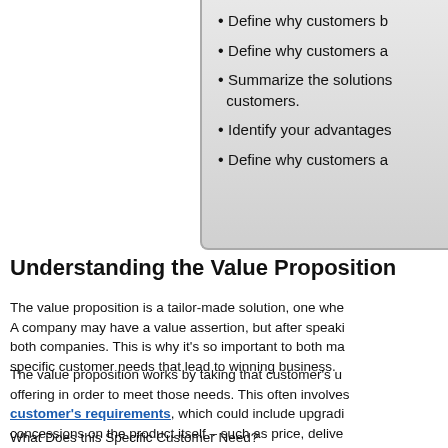Define why customers b...
Define why customers a...
Summarize the solutions... customers.
Identify your advantages...
Define why customers a...
Understanding the Value Proposition
The value proposition is a tailor-made solution, one whe... A company may have a value assertion, but after speaki... both companies. This is why it's so important to both ma... specific customer needs that lead to winning business.
The value proposition works by taking that customer's u... offering in order to meet those needs. This often involves... customer's requirements, which could include upgradi... concessions on the product itself – such as price, delive... you need to consider when providing a value propositio...
What Does this Specific Customer Need?